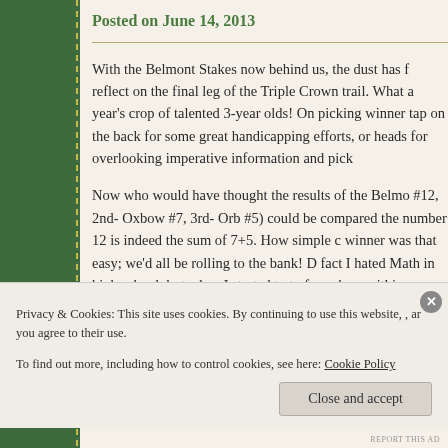Posted on June 14, 2013
With the Belmont Stakes now behind us, the dust has f reflect on the final leg of the Triple Crown trail. What a year's crop of talented 3-year olds! On picking winner tap on the back for some great handicapping efforts, or heads for overlooking imperative information and pick
Now who would have thought the results of the Belmo #12, 2nd- Oxbow #7, 3rd- Orb #5) could be compared the number 12 is indeed the sum of 7+5. How simple c winner was that easy; we'd all be rolling to the bank! fact I hated Math in high school, but when I started to of numbers within a horse race could actually help me actually appreciated all the numerical information I co
Privacy & Cookies: This site uses cookies. By continuing to use this website, , ar you agree to their use.
To find out more, including how to control cookies, see here: Cookie Policy
Close and accept